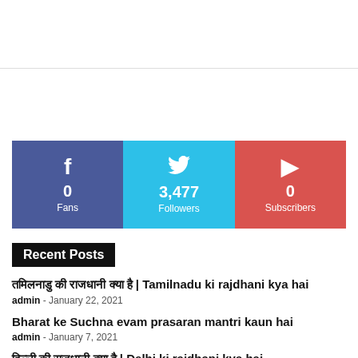[Figure (infographic): Social media stats bar showing Facebook (0 Fans), Twitter (3,477 Followers), YouTube (0 Subscribers)]
Recent Posts
तमिलनाडु की राजधानी क्या है | Tamilnadu ki rajdhani kya hai
admin - January 22, 2021
Bharat ke Suchna evam prasaran mantri kaun hai
admin - January 7, 2021
दिल्ली की राजधानी क्या है | Delhi ki rajdhani kya hai
admin - January 23, 2021